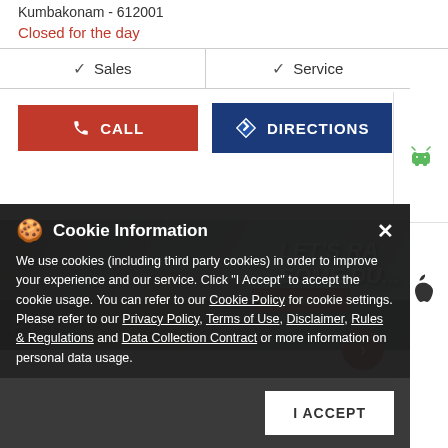Kumbakonam - 612001
Closed for the day
| Sales | Service |
| --- | --- |
CALL   DIRECTIONS
[Figure (photo): Motorcycle rider on dusty trail with text LET'S RAISE SOME DUST]
Cookie Information
We use cookies (including third party cookies) in order to improve your experience and our service. Click "I Accept" to accept the cookie usage. You can refer to our Cookie Policy for cookie settings. Please refer to our Privacy Policy, Terms of Use, Disclaimer, Rules & Regulations and Data Collection Contract or more information on personal data usage.
I ACCEPT